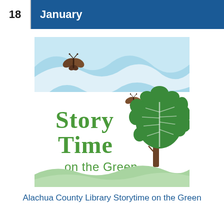18 January
[Figure (illustration): Story Time on the Green logo: illustrated scene with blue sky, rolling hills, butterflies, a large green tree, and text reading 'Story Time on the Green' in green lettering, with a soft green meadow at the bottom.]
Alachua County Library Storytime on the Green